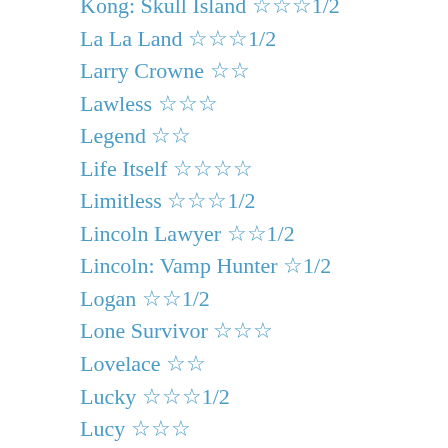Kong: Skull Island ☆☆☆1/2
La La Land ☆☆☆1/2
Larry Crowne ☆☆
Lawless ☆☆☆
Legend ☆☆
Life Itself ☆☆☆☆
Limitless ☆☆☆1/2
Lincoln Lawyer ☆☆1/2
Lincoln: Vamp Hunter ☆1/2
Logan ☆☆1/2
Lone Survivor ☆☆☆
Lovelace ☆☆
Lucky ☆☆☆1/2
Lucy ☆☆☆
Mad Max: Fury Road ☆☆☆☆
Maggie / The D Train
Mama ☆☆1/2
Maps to the Stars ☆☆☆
McFarland, USA ☆☆☆
Melancholia ☆☆☆☆